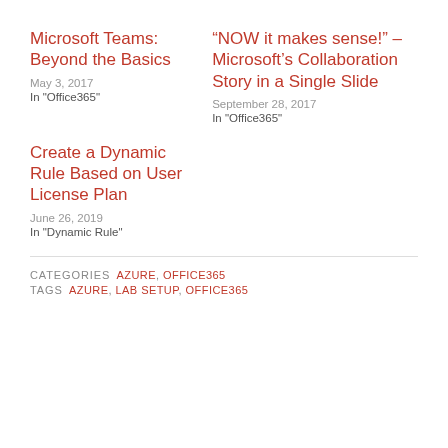Microsoft Teams: Beyond the Basics
May 3, 2017
In "Office365"
“NOW it makes sense!” – Microsoft’s Collaboration Story in a Single Slide
September 28, 2017
In "Office365"
Create a Dynamic Rule Based on User License Plan
June 26, 2019
In "Dynamic Rule"
CATEGORIES  AZURE, OFFICE365
TAGS  AZURE, LAB SETUP, OFFICE365